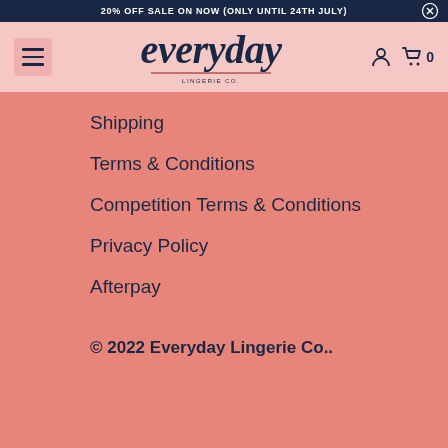20% OFF SALE ON NOW (ONLY UNTIL 24TH JULY)
[Figure (logo): Everyday Lingerie Co. logo with cursive script and small caps subtitle]
Shipping
Terms & Conditions
Competition Terms & Conditions
Privacy Policy
Afterpay
© 2022 Everyday Lingerie Co..